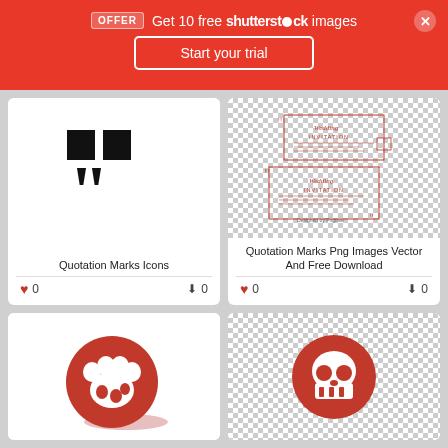OFFER  Get 10 free shutterstock images
Start your trial
[Figure (illustration): Large black quotation marks (open and close) on white background]
Quotation Marks Icons
0  0
[Figure (illustration): Quotation marks with wedding invitation card templates on checkered transparent background]
Quotation Marks Png Images Vector And Free Download
0  0
[Figure (illustration): White paw print icon on red circle with shadow]
[Figure (illustration): Red skull icon on checkered transparent background]